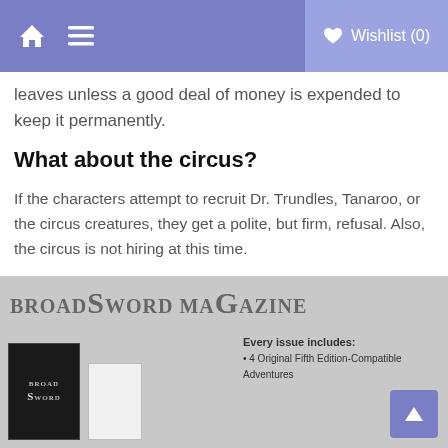Home | Menu | Wishlist (0)
leaves unless a good deal of money is expended to keep it permanently.
What about the circus?
If the characters attempt to recruit Dr. Trundles, Tanaroo, or the circus creatures, they get a polite, but firm, refusal. Also, the circus is not hiring at this time.
Once purchases are made, and the party organized, the characters can depart for Bloodstone.
[Figure (illustration): BroadSword Magazine advertisement banner showing magazine covers and text 'Every issue includes: 4 Original Fifth Edition-Compatible Adventures']